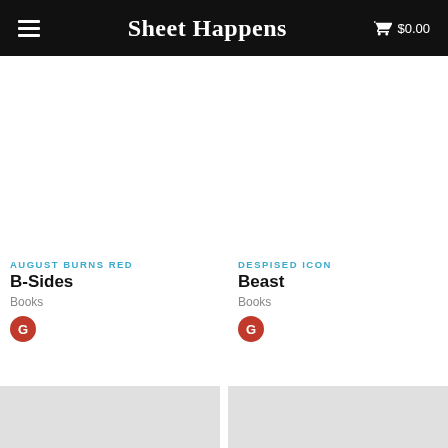Sheet Happens  $0.00
AUGUST BURNS RED
B-Sides
Books
DESPISED ICON
Beast
Books